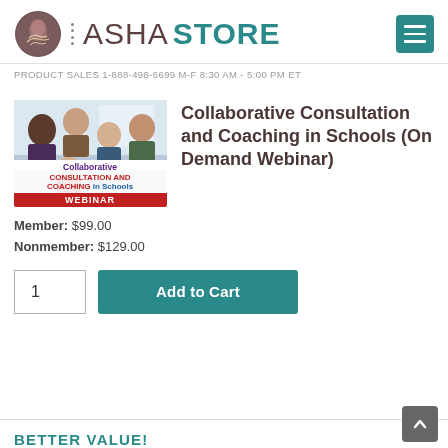ASHA STORE
PRODUCT SALES 1-888-498-6699 M-F 8:30 AM - 5:00 PM ET
[Figure (photo): Webinar product thumbnail for Collaborative Consultation and Coaching in Schools webinar, showing diverse group of educators around a table with overlaid text title and WEBINAR label]
Collaborative Consultation and Coaching in Schools (On Demand Webinar)
Member: $99.00
Nonmember: $129.00
1
Add to Cart
BETTER VALUE!